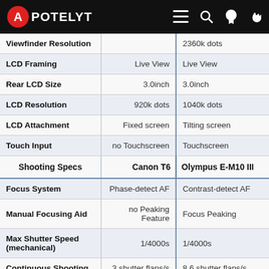APOTELYT
| Spec | Canon T6 | Olympus E-M10 III |
| --- | --- | --- |
| Viewfinder Resolution |  | 2360k dots |
| LCD Framing | Live View | Live View |
| Rear LCD Size | 3.0inch | 3.0inch |
| LCD Resolution | 920k dots | 1040k dots |
| LCD Attachment | Fixed screen | Tilting screen |
| Touch Input | no Touchscreen | Touchscreen |
| Shooting Specs | Canon T6 | Olympus E-M10 III |
| Focus System | Phase-detect AF | Contrast-detect AF |
| Manual Focusing Aid | no Peaking Feature | Focus Peaking |
| Max Shutter Speed (mechanical) | 1/4000s | 1/4000s |
| Continuous Shooting | 3 shutter flaps/s | 8.6 shutter flaps/s |